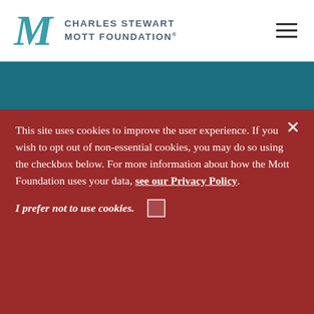[Figure (logo): Charles Stewart Mott Foundation logo with teal M lettermark and organization name in dark blue-grey uppercase letters]
This site uses cookies to improve the user experience. If you wish to opt out of non-essential cookies, you may do so using the checkbox below. For more information about how the Mott Foundation uses your data, see our Privacy Policy.
I prefer not to use cookies.